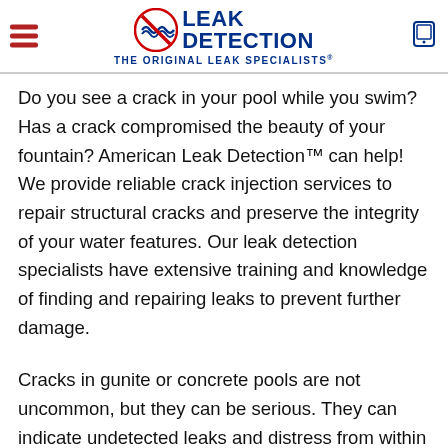American Leak Detection™ — The Original Leak Specialists®
Do you see a crack in your pool while you swim? Has a crack compromised the beauty of your fountain? American Leak Detection™ can help! We provide reliable crack injection services to repair structural cracks and preserve the integrity of your water features. Our leak detection specialists have extensive training and knowledge of finding and repairing leaks to prevent further damage.
Cracks in gunite or concrete pools are not uncommon, but they can be serious. They can indicate undetected leaks and distress from within your pool, spa, or fountain. It is important that you address the issue sooner, rather than later, to prevent further problems from arising.